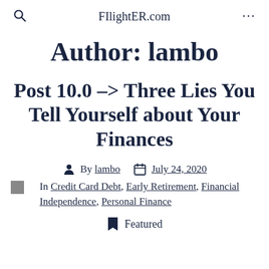FIlightER.com
Author: lambo
Post 10.0 –> Three Lies You Tell Yourself about Your Finances
By lambo   July 24, 2020
In Credit Card Debt, Early Retirement, Financial Independence, Personal Finance
Featured